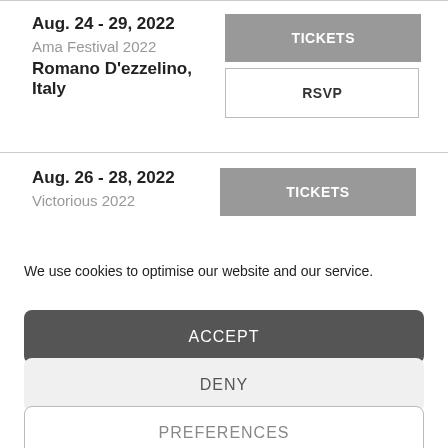Aug. 24 - 29, 2022
Ama Festival 2022
Romano D'ezzelino, Italy
TICKETS
RSVP
Aug. 26 - 28, 2022
Victorious 2022
TICKETS
We use cookies to optimise our website and our service.
ACCEPT
DENY
PREFERENCES